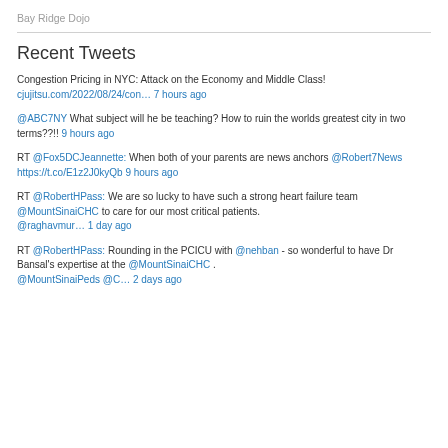Bay Ridge Dojo
Recent Tweets
Congestion Pricing in NYC: Attack on the Economy and Middle Class! cjujitsu.com/2022/08/24/con… 7 hours ago
@ABC7NY What subject will he be teaching? How to ruin the worlds greatest city in two terms??!! 9 hours ago
RT @Fox5DCJeannette: When both of your parents are news anchors @Robert7News https://t.co/E1z2J0kyQb 9 hours ago
RT @RobertHPass: We are so lucky to have such a strong heart failure team @MountSinaiCHC to care for our most critical patients. @raghavmur… 1 day ago
RT @RobertHPass: Rounding in the PCICU with @nehban - so wonderful to have Dr Bansal's expertise at the @MountSinaiCHC . @MountSinaiPeds @C… 2 days ago